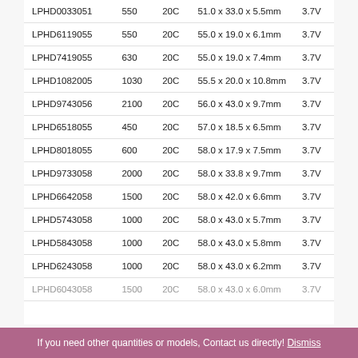| LPHD0033051 | 550 | 20C | 51.0 x 33.0 x 5.5mm | 3.7V |
| LPHD6119055 | 550 | 20C | 55.0 x 19.0 x 6.1mm | 3.7V |
| LPHD7419055 | 630 | 20C | 55.0 x 19.0 x 7.4mm | 3.7V |
| LPHD1082005 | 1030 | 20C | 55.5 x 20.0 x 10.8mm | 3.7V |
| LPHD9743056 | 2100 | 20C | 56.0 x 43.0 x 9.7mm | 3.7V |
| LPHD6518055 | 450 | 20C | 57.0 x 18.5 x 6.5mm | 3.7V |
| LPHD8018055 | 600 | 20C | 58.0 x 17.9 x 7.5mm | 3.7V |
| LPHD9733058 | 2000 | 20C | 58.0 x 33.8 x 9.7mm | 3.7V |
| LPHD6642058 | 1500 | 20C | 58.0 x 42.0 x 6.6mm | 3.7V |
| LPHD5743058 | 1000 | 20C | 58.0 x 43.0 x 5.7mm | 3.7V |
| LPHD5843058 | 1000 | 20C | 58.0 x 43.0 x 5.8mm | 3.7V |
| LPHD6243058 | 1000 | 20C | 58.0 x 43.0 x 6.2mm | 3.7V |
| LPHD6043058 | 1500 | 20C | 58.0 x 43.0 x 6.0mm | 3.7V |
If you need other quantities or models, Contact us directly! Dismiss